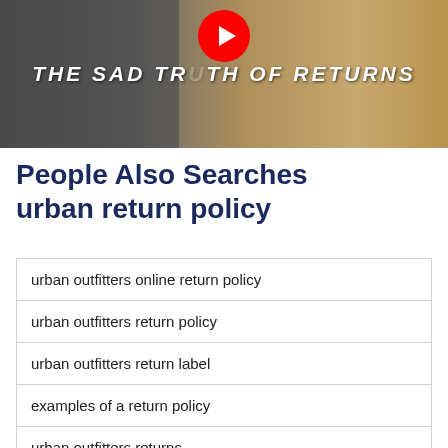[Figure (screenshot): YouTube video thumbnail with text 'THE SAD TRUTH OF RETURNS', showing a person with boxes in the background]
People Also Searches urban return policy
urban outfitters online return policy
urban outfitters return policy
urban outfitters return label
examples of a return policy
urban outfitters returns